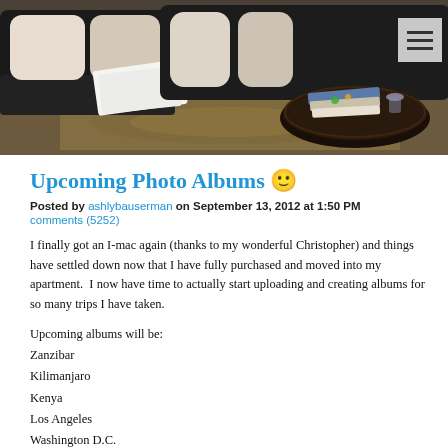[Figure (photo): Interior photo of a living room with dark leather couches, white pillows, a round dark wooden coffee table with books and a glass on it, and a patterned rug. Navigation hamburger menu button visible in the upper right corner.]
Upcoming Photo Albums 🙂
Posted by ashlybauserman on September 13, 2012 at 1:50 PM
comments (5252)
I finally got an I-mac again (thanks to my wonderful Christopher) and things have settled down now that I have fully purchased and moved into my apartment.  I now have time to actually start uploading and creating albums for so many trips I have taken.
Upcoming albums will be:
Zanzibar
Kilimanjaro
Kenya
Los Angeles
Washington D.C.